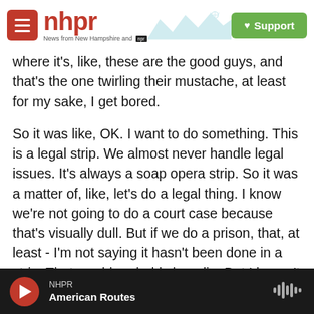[Figure (logo): NHPR logo with red hamburger menu button, nhpr text in red, 'News from New Hampshire and NPR' tagline, mountain/radio tower landscape illustration, and green Support button]
where it's, like, these are the good guys, and that's the one twirling their mustache, at least for my sake, I get bored.
So it was like, OK. I want to do something. This is a legal strip. We almost never handle legal issues. It's always a soap opera strip. So it was a matter of, like, let's do a legal thing. I know we're not going to do a court case because that's visually dull. But if we do a prison, that, at least - I'm not saying it hasn't been done in a strip. That would probably be a lie. But I haven't seen that recently.
MARTIN: Are you hoping that perhaps you might
NHPR | American Routes